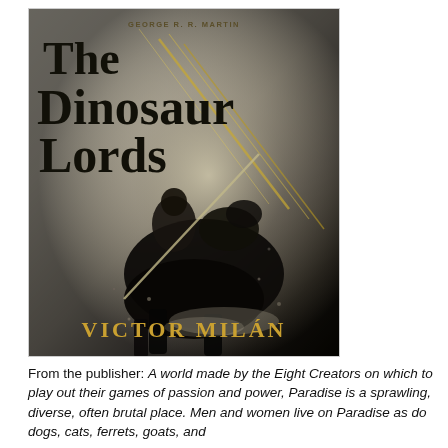[Figure (illustration): Book cover of 'The Dinosaur Lords' by Victor Milán, with foreword praise by George R. R. Martin. Dark fantasy cover art depicting an armored knight riding a large theropod dinosaur, with diagonal gold/yellow streaks across a grayish-white dramatic background. Title text in large serif font, author name at bottom in gold.]
From the publisher: A world made by the Eight Creators on which to play out their games of passion and power, Paradise is a sprawling, diverse, often brutal place. Men and women live on Paradise as do dogs, cats, ferrets, goats, and